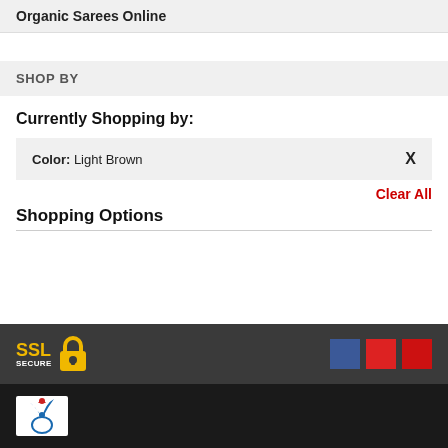Organic Sarees Online
SHOP BY
Currently Shopping by:
Color:  Light Brown   X
Clear All
Shopping Options
[Figure (logo): SSL Secure badge with padlock icon]
[Figure (logo): Social media icons: blue Facebook square, two red squares (YouTube/Pinterest)]
[Figure (logo): Organic Sarees bird/peacock logo on black footer]